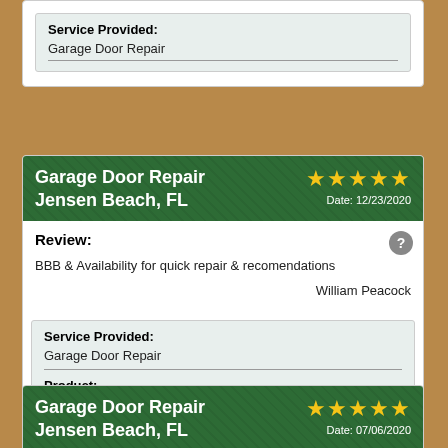Service Provided: Garage Door Repair
Garage Door Repair Jensen Beach, FL — ★★★★★ Date: 12/23/2020
Review: BBB & Availability for quick repair & recomendations — William Peacock
| Field | Value |
| --- | --- |
| Service Provided: | Garage Door Repair |
| Product: | Belt Drive Garage Door Opener |
Garage Door Repair Jensen Beach, FL — ★★★★★ Date: 07/06/2020